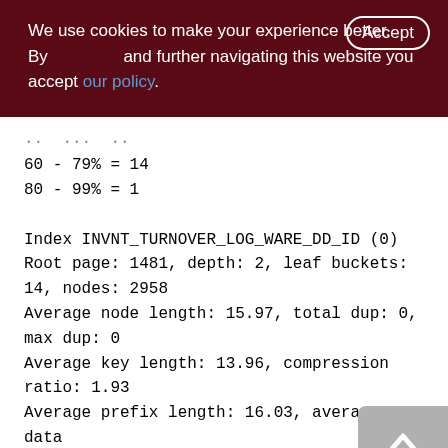We use cookies to make your experience better. By accepting and further navigating this website you accept our policy.
60 - 79% = 14
80 - 99% = 1
Index INVNT_TURNOVER_LOG_WARE_DD_ID (0)
Root page: 1481, depth: 2, leaf buckets: 14, nodes: 2958
Average node length: 15.97, total dup: 0, max dup: 0
Average key length: 13.96, compression ratio: 1.93
Average prefix length: 16.03, average data length: 10.97